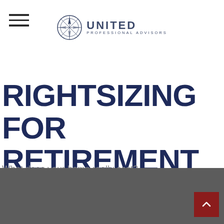United Professional Advisors
RIGHTSIZING FOR RETIREMENT
What does your home really cost?